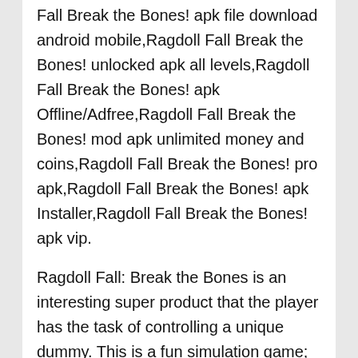Fall Break the Bones! apk file download android mobile,Ragdoll Fall Break the Bones! unlocked apk all levels,Ragdoll Fall Break the Bones! apk Offline/Adfree,Ragdoll Fall Break the Bones! mod apk unlimited money and coins,Ragdoll Fall Break the Bones! pro apk,Ragdoll Fall Break the Bones! apk Installer,Ragdoll Fall Break the Bones! apk vip.
Ragdoll Fall: Break the Bones is an interesting super product that the player has the task of controlling a unique dummy. This is a fun simulation game; players will show their control ability. More specifically, you also have to bring your dummy to the most vital positions to make it easier to break bones to be true to your mission. The game is getting many new updates to create drama and fun to follow your playing process